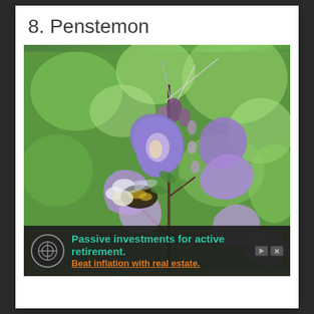8. Penstemon
[Figure (photo): Close-up photograph of purple Penstemon flowers with a bumblebee feeding on one of the blooms. The flowers are tubular and lavender-purple in color, arranged on a stem with multiple blooms and buds. The background is a soft blurred green from out-of-focus foliage.]
Passive investments for active retirement. Beat inflation with real estate.